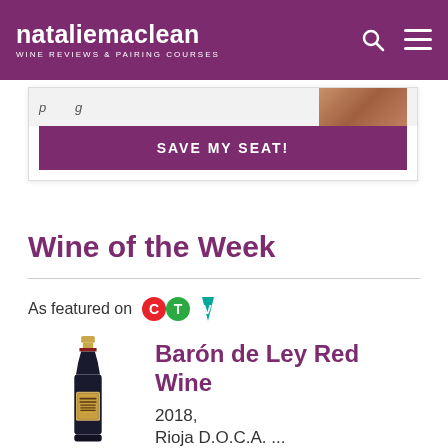nataliemaclean WINE REVIEWS & PAIRING COURSES
[Figure (screenshot): Partial banner card with italic text and a CTA button reading SAVE MY SEAT!]
Wine of the Week
As featured on CTV
[Figure (illustration): Wine bottle of Barón de Ley Red Wine with gold cap and label]
Barón de Ley Red Wine
2018,
Rioja D.O.C.A. ...